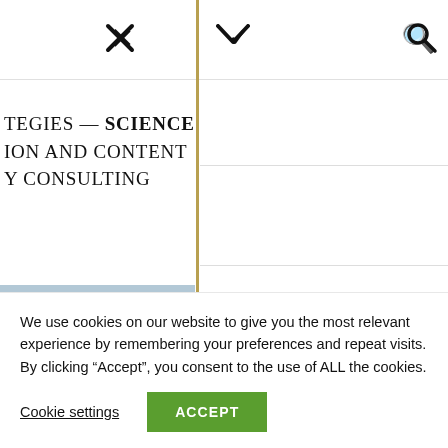[Figure (screenshot): Navigation bar with X (close), chevron down, and search icons]
TEGIES — SCIENCE ION AND CONTENT Y CONSULTING
[Figure (photo): Photo of an animal, possibly bison or buffalo, near water. Horns visible at bottom of frame.]
5 AT 4:30 PM
t of increased predator diversity
We use cookies on our website to give you the most relevant experience by remembering your preferences and repeat visits. By clicking “Accept”, you consent to the use of ALL the cookies.
Cookie settings
ACCEPT